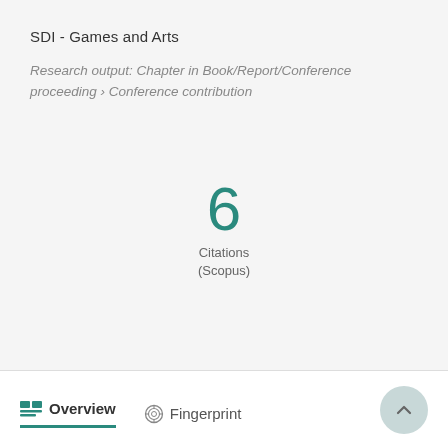SDI - Games and Arts
Research output: Chapter in Book/Report/Conference proceeding › Conference contribution
[Figure (infographic): Large teal numeral '6' with label 'Citations (Scopus)' below]
Overview   Fingerprint